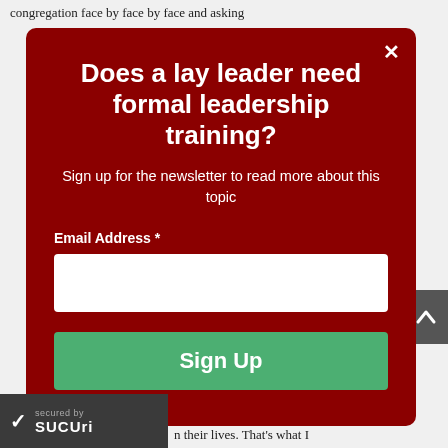congregation face by face by face and asking
[Figure (screenshot): Modal popup dialog on dark red background with newsletter signup form. Contains title 'Does a lay leader need formal leadership training?', subtitle 'Sign up for the newsletter to read more about this topic', email input field, and green Sign Up button. A close X button is in the top right corner.]
Does a lay leader need formal leadership training?
Sign up for the newsletter to read more about this topic
Email Address *
Sign Up
n their lives. That's what I
[Figure (logo): Sucuri security badge with checkmark, 'secured by' text and Sucuri logo in white on dark gray background]